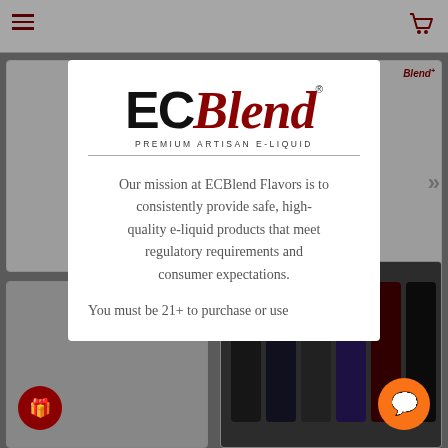[Figure (screenshot): ECBlend e-commerce website screenshot showing a modal popup with the ECBlend logo and mission statement over a product listing page background.]
ECBlend PREMIUM ARTISAN E-LIQUID
Our mission at ECBlend Flavors is to consistently provide safe, high-quality e-liquid products that meet regulatory requirements and consumer expectations.
You must be 21+ to purchase or use